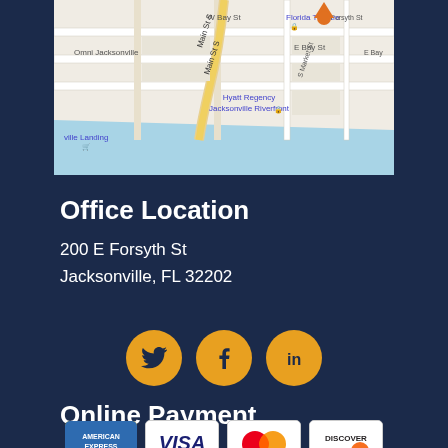[Figure (map): Google Maps screenshot showing downtown Jacksonville, FL area near E Forsyth St, with streets including W Bay St, E Bay St, Main St S, S Market St, and landmarks including Omni Jacksonville, Florida Theatre, Jacksonville Landing, and Hyatt Regency Jacksonville Riverfront]
Office Location
200 E Forsyth St
Jacksonville, FL 32202
[Figure (infographic): Three social media icons in gold/amber circles: Twitter bird icon, Facebook f icon, LinkedIn in icon]
Online Payment
[Figure (infographic): Four payment method icons: American Express, Visa, Mastercard, Discover]